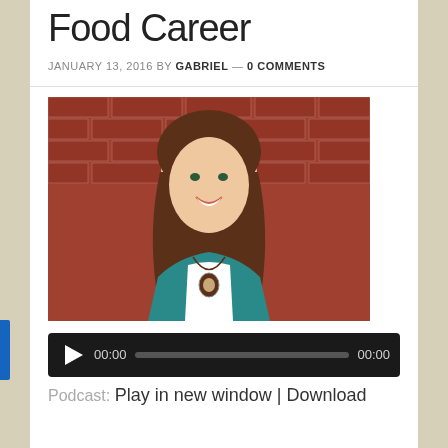Food Career
JANUARY 13, 2016 BY GABRIEL — 0 COMMENTS
[Figure (photo): A smiling woman with long brown hair wearing a teal cardigan and pendant necklace, standing in front of a red brick wall.]
[Figure (other): Audio player with play button, 00:00 time display, progress bar, and 00:00 duration display on a dark background.]
Podcast: Play in new window | Download